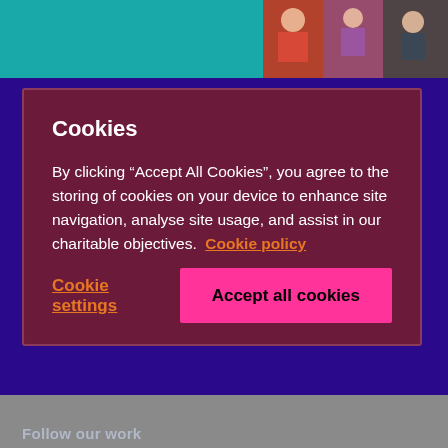[Figure (photo): Decorative photo strip in top-right corner showing people]
Cookies
By clicking “Accept All Cookies”, you agree to the storing of cookies on your device to enhance site navigation, analyse site usage, and assist in our charitable objectives.  Cookie policy
Cookie settings
Accept all cookies
Follow our work
[Figure (infographic): Five social media icons: Twitter (bird), Facebook (f), Instagram (camera), YouTube (play button), Huffington Post (H)]